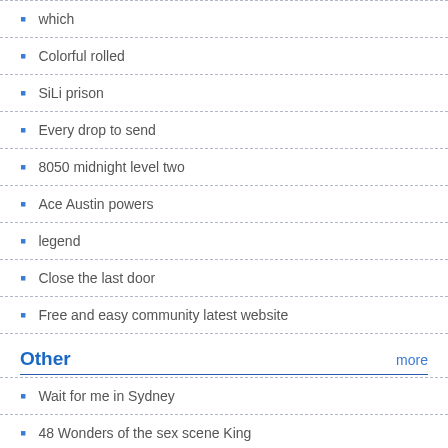which
Colorful rolled
SiLi prison
Every drop to send
8050 midnight level two
Ace Austin powers
legend
Close the last door
Free and easy community latest website
Other
Wait for me in Sydney
48 Wonders of the sex scene King
Tokyo trial